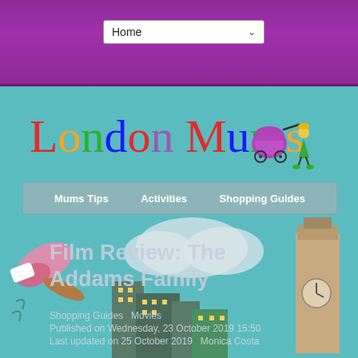[Figure (screenshot): Purple navigation bar at the top with a 'Home' dropdown selector]
[Figure (logo): London Mums logo with colorful handwritten-style text and cartoon pram/stroller with a figure]
[Figure (illustration): Navigation menu bar with teal/grey background showing 'Mums Tips', 'Activities', 'Shopping Guides']
[Figure (illustration): Cartoon cityscape illustration of London with Big Ben, buildings, a flying character, and clouds]
Film Review: The Addams Family
Shopping Guides  Movies
Published on Wednesday, 23 October 2019 15:50
Last updated on 25 October 2019  Monica Costa